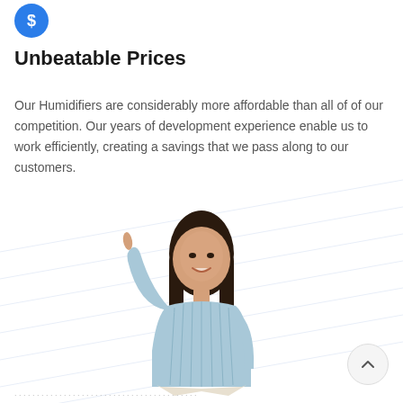[Figure (illustration): Blue circle icon with a white dollar sign]
Unbeatable Prices
Our Humidifiers are considerably more affordable than all of of our competition. Our years of development experience enable us to work efficiently, creating a savings that we pass along to our customers.
[Figure (photo): A smiling young woman with long dark hair, wearing a light blue ribbed long-sleeve top and white pants, pointing one finger upward]